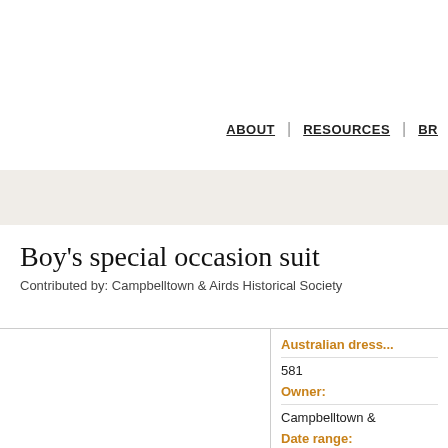ABOUT | RESOURCES | BR...
Boy's special occasion suit
Contributed by: Campbelltown & Airds Historical Society
[Figure (photo): Image area for Boy's special occasion suit]
Australian dress...
581
Owner:
Campbelltown &
Date range:
1900 - 1904